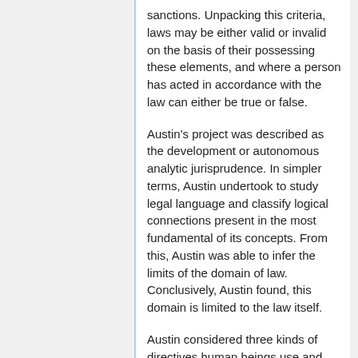sanctions. Unpacking this criteria, laws may be either valid or invalid on the basis of their possessing these elements, and where a person has acted in accordance with the law can either be true or false.
Austin's project was described as the development or autonomous analytic jurisprudence. In simpler terms, Austin undertook to study legal language and classify logical connections present in the most fundamental of its concepts. From this, Austin was able to infer the limits of the domain of law. Conclusively, Austin found, this domain is limited to the law itself.
Austin considered three kinds of directives human beings use and interact with. These include utility directives, positive morality and positive law.